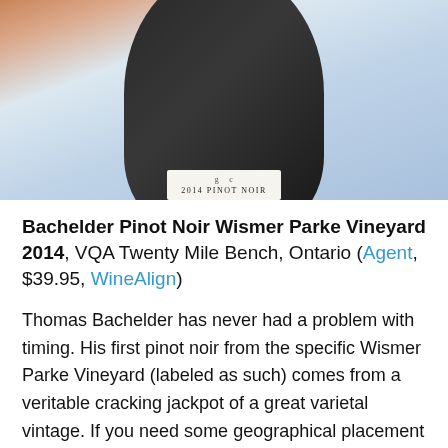[Figure (photo): Close-up photo of a wine bottle cap/top showing '2014 PINOT NOIR' text on a white label, with dark bottle neck and blurred warm background]
Bachelder Pinot Noir Wismer Parke Vineyard 2014, VQA Twenty Mile Bench, Ontario (Agent, $39.95, WineAlign)
Thomas Bachelder has never had a problem with timing. His first pinot noir from the specific Wismer Parke Vineyard (labeled as such) comes from a veritable cracking jackpot of a great varietal vintage. If you need some geographical placement here, The Parke is contiguous to the Foxcroft and Wingfield sections of Wismer in the eight farm-strong holdings on and around the Twenty Mile Bench. It is here that Bachelder